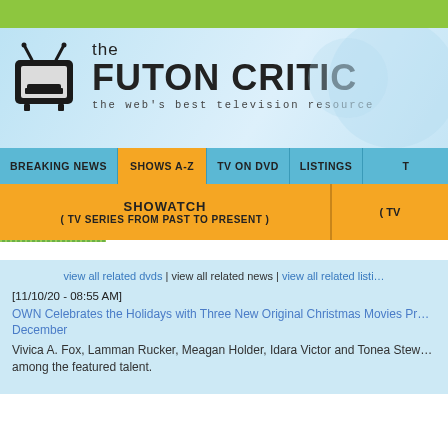[Figure (logo): The Futon Critic website logo with TV icon and tagline 'the web's best television resource']
BREAKING NEWS | SHOWS A-Z | TV ON DVD | LISTINGS
SHOWATCH ( TV SERIES FROM PAST TO PRESENT )
view all related dvds | view all related news | view all related listings
[11/10/20 - 08:55 AM]
OWN Celebrates the Holidays with Three New Original Christmas Movies Premiering in December
Vivica A. Fox, Lamman Rucker, Meagan Holder, Idara Victor and Tonea Stewart are among the featured talent.